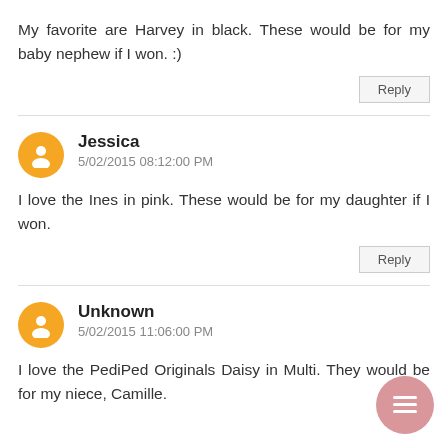My favorite are Harvey in black. These would be for my baby nephew if I won. :)
Reply
Jessica
5/02/2015 08:12:00 PM
I love the Ines in pink. These would be for my daughter if I won.
Reply
Unknown
5/02/2015 11:06:00 PM
I love the PediPed Originals Daisy in Multi. They would be for my niece, Camille.